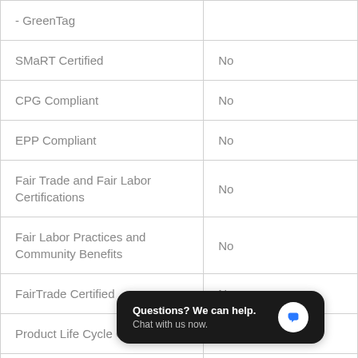| - GreenTag |  |
| SMaRT Certified | No |
| CPG Compliant | No |
| EPP Compliant | No |
| Fair Trade and Fair Labor Certifications | No |
| Fair Labor Practices and Community Benefits | No |
| FairTrade Certified | No |
| Product Life Cycle Certification |  |